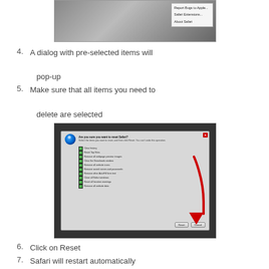[Figure (screenshot): Screenshot of Safari menu showing 'Report Bugs to Apple...', 'Safari Extensions...', 'About Safari' options over a tablet/iPad image]
4. A dialog with pre-selected items will pop-up
5. Make sure that all items you need to delete are selected
[Figure (screenshot): Screenshot of Safari 'Reset Safari?' dialog with checkboxes for items to reset (Clear history, Reset Top Sites, Remove all webpage preview images, Clear the Downloads window, Remove all website icons, Remove saved names and passwords, Remove other AutoFill form text, Close all Safari windows, Reset all location warnings, Remove all website data) and Reset/Cancel buttons, with red arrow pointing to checkboxes]
6. Click on Reset
7. Safari will restart automatically
* Can't remember who published this article...